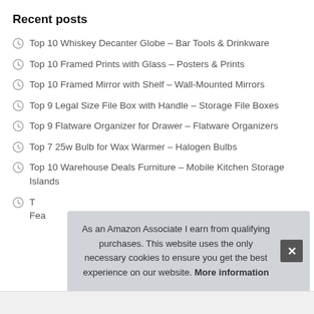Recent posts
Top 10 Whiskey Decanter Globe – Bar Tools & Drinkware
Top 10 Framed Prints with Glass – Posters & Prints
Top 10 Framed Mirror with Shelf – Wall-Mounted Mirrors
Top 9 Legal Size File Box with Handle – Storage File Boxes
Top 9 Flatware Organizer for Drawer – Flatware Organizers
Top 7 25w Bulb for Wax Warmer – Halogen Bulbs
Top 10 Warehouse Deals Furniture – Mobile Kitchen Storage Islands
T... Fea...
As an Amazon Associate I earn from qualifying purchases. This website uses the only necessary cookies to ensure you get the best experience on our website. More information